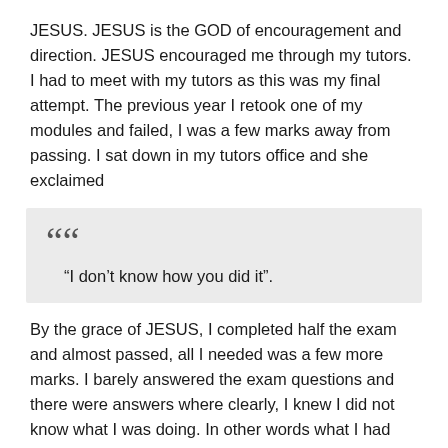JESUS. JESUS is the GOD of encouragement and direction. JESUS encouraged me through my tutors. I had to meet with my tutors as this was my final attempt. The previous year I retook one of my modules and failed, I was a few marks away from passing. I sat down in my tutors office and she exclaimed
“I don’t know how you did it”.
By the grace of JESUS, I completed half the exam and almost passed, all I needed was a few more marks. I barely answered the exam questions and there were answers where clearly, I knew I did not know what I was doing. In other words what I had achieved through the grace of JESUS was impossible. It began to dawn on me, how did I do it?